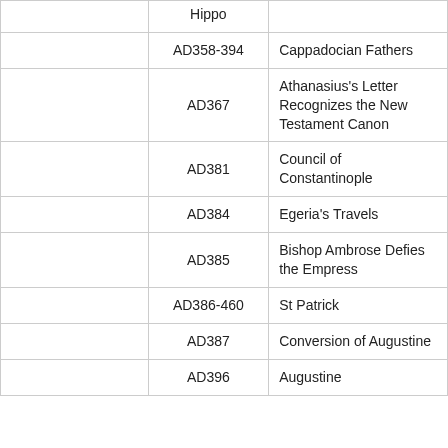|  | Date | Event |
| --- | --- | --- |
|  | Hippo |  |
|  | AD358-394 | Cappadocian Fathers |
|  | AD367 | Athanasius's Letter Recognizes the New Testament Canon |
|  | AD381 | Council of Constantinople |
|  | AD384 | Egeria's Travels |
|  | AD385 | Bishop Ambrose Defies the Empress |
|  | AD386-460 | St Patrick |
|  | AD387 | Conversion of Augustine |
|  | AD396 | Augustine |